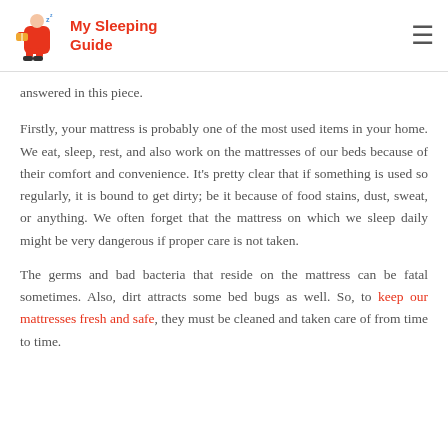My Sleeping Guide
answered in this piece.
Firstly, your mattress is probably one of the most used items in your home. We eat, sleep, rest, and also work on the mattresses of our beds because of their comfort and convenience. It's pretty clear that if something is used so regularly, it is bound to get dirty; be it because of food stains, dust, sweat, or anything. We often forget that the mattress on which we sleep daily might be very dangerous if proper care is not taken.
The germs and bad bacteria that reside on the mattress can be fatal sometimes. Also, dirt attracts some bed bugs as well. So, to keep our mattresses fresh and safe, they must be cleaned and taken care of from time to time. People often get confused about the question, they wonder...